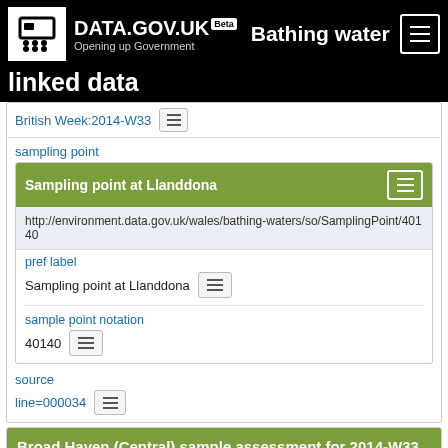DATA.GOV.UK Beta — Opening up Government | Bathing water linked data
British Week:2014-W33
sampling point
Sampling point at Llanddona
http://environment.data.gov.uk/wales/bathing-waters/so/SamplingPoint/40140
pref label
Sampling point at Llanddona
sample point notation
40140
source
line=000034
Broad Haven (Central) sample assessment for 2014-W33
http://environment.data.gov.uk/data/bathing-water-quality/in-